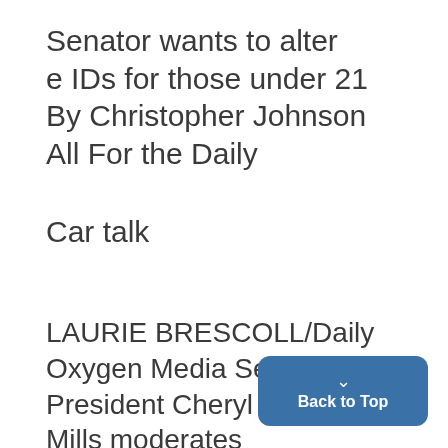Senator wants to alter e IDs for those under 21 By Christopher Johnson All For the Daily
Car talk
LAURIE BRESCOLL/Daily Oxygen Media Senior Vice President Cheryl Mills moderates a women's panel titled "Choose to Lead: Powerful Choices" last night.
Back to Top